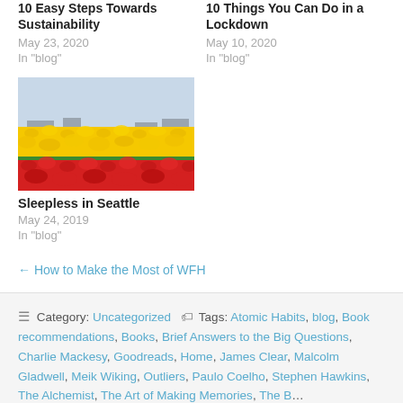10 Easy Steps Towards Sustainability
May 23, 2020
In "blog"
10 Things You Can Do in a Lockdown
May 10, 2020
In "blog"
[Figure (photo): Field of yellow and red tulip flowers]
Sleepless in Seattle
May 24, 2019
In "blog"
← How to Make the Most of WFH
Category: Uncategorized   Tags: Atomic Habits, blog, Book recommendations, Books, Brief Answers to the Big Questions, Charlie Mackesy, Goodreads, Home, James Clear, Malcolm Gladwell, Meik Wiking, Outliers, Paulo Coelho, Stephen Hawkins, The Alchemist, The Art of Making Memories, The B...